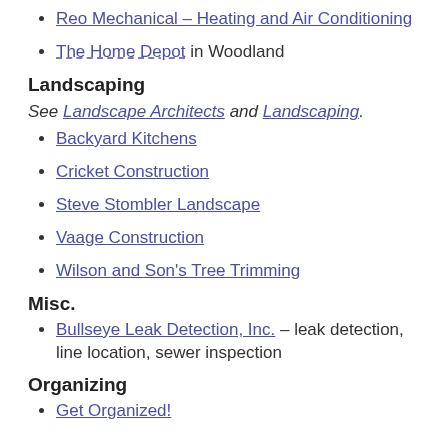Reo Mechanical - Heating and Air Conditioning
The Home Depot in Woodland
Landscaping
See Landscape Architects and Landscaping.
Backyard Kitchens
Cricket Construction
Steve Stombler Landscape
Vaage Construction
Wilson and Son's Tree Trimming
Misc.
Bullseye Leak Detection, Inc. – leak detection, line location, sewer inspection
Organizing
Get Organized!